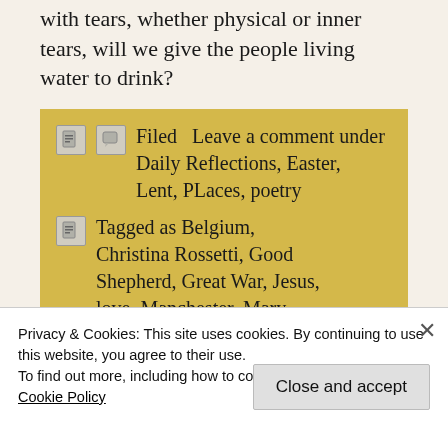with tears, whether physical or inner tears, will we give the people living water to drink?
Filed  Leave a comment under Daily Reflections, Easter, Lent, PLaces, poetry
Tagged as Belgium, Christina Rossetti, Good Shepherd, Great War, Jesus, love, Manchester, Mary, poetry, prayer, repentance,
Privacy & Cookies: This site uses cookies. By continuing to use this website, you agree to their use. To find out more, including how to control cookies, see here: Cookie Policy
Close and accept